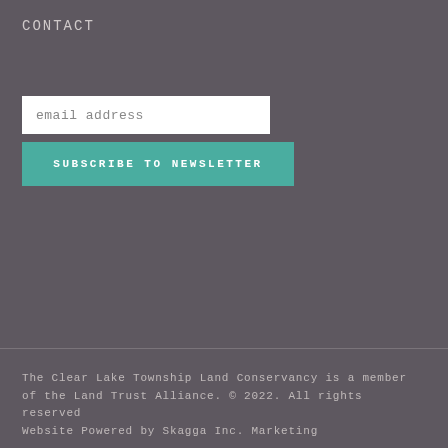CONTACT
email address
SUBSCRIBE TO NEWSLETTER
The Clear Lake Township Land Conservancy is a member of the Land Trust Alliance. © 2022. All rights reserved
Website Powered by Skagga Inc. Marketing